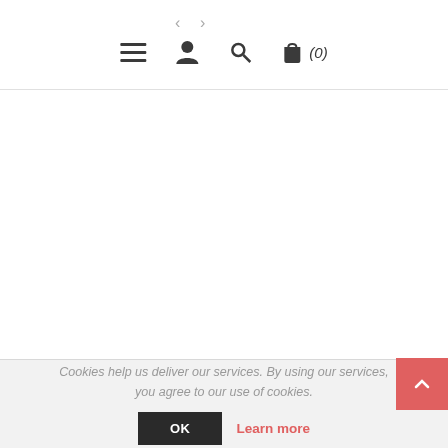Navigation header with menu, user, search, and bag icons (0)
Cookies help us deliver our services. By using our services, you agree to our use of cookies.
OK  Learn more